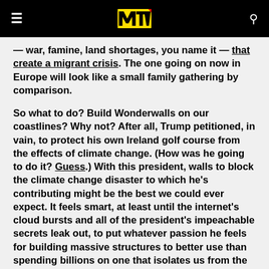MTV logo header with hamburger menu and search icon
— war, famine, land shortages, you name it — that create a migrant crisis. The one going on now in Europe will look like a small family gathering by comparison.
So what to do? Build Wonderwalls on our coastlines? Why not? After all, Trump petitioned, in vain, to protect his own Ireland golf course from the effects of climate change. (How was he going to do it? Guess.) With this president, walls to block the climate change disaster to which he's contributing might be the best we could ever expect. It feels smart, at least until the internet's cloud bursts and all of the president's impeachable secrets leak out, to put whatever passion he feels for building massive structures to better use than spending billions on one that isolates us from the rest of the world.
Become...